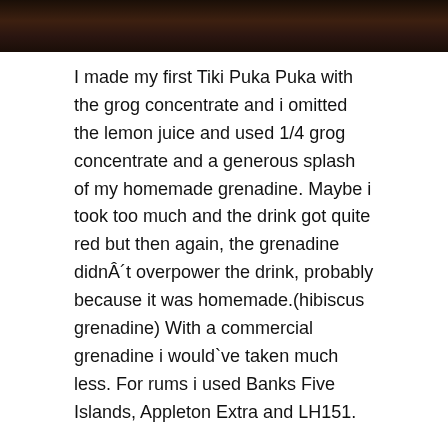[Figure (photo): Dark brown/black photo strip at top of page, appears to be a dark background image]
I made my first Tiki Puka Puka with the grog concentrate and i omitted the lemon juice and used 1/4 grog concentrate and a generous splash of my homemade grenadine. Maybe i took too much and the drink got quite red but then again, the grenadine didn´t overpower the drink, probably because it was homemade.(hibiscus grenadine) With a commercial grenadine i would`ve taken much less. For rums i used Banks Five Islands, Appleton Extra and LH151.
1 oz orange juice
1 oz lemon juice – I omitted it altogether bec the drink is said to be better without whichafter making two to compare i agree with.
0.25 oz grog concentrate
0.25 oz grenadine (homemade preferably or a VERY